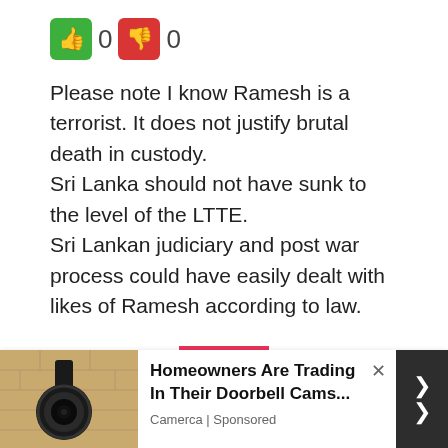[Figure (other): Thumbs up (green button) showing 0 votes and thumbs down (red button) showing 0 votes]
Please note I know Ramesh is a terrorist. It does not justify brutal death in custody.
Sri Lanka should not have sunk to the level of the LTTE.
Sri Lankan judiciary and post war process could have easily dealt with likes of Ramesh according to law.
[Figure (logo): Pink/red geometric diamond pattern logo]
[Figure (photo): Advertisement photo showing a security camera mounted on a wall]
Homeowners Are Trading In Their Doorbell Cams...
Camerca | Sponsored